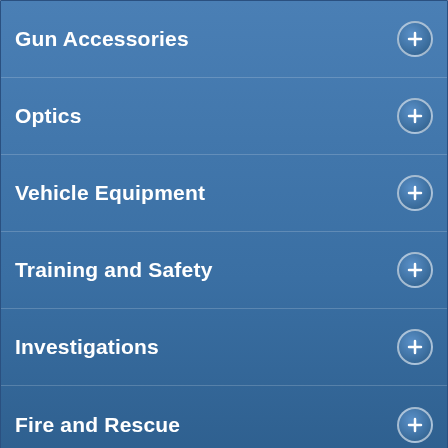Gun Accessories
Optics
Vehicle Equipment
Training and Safety
Investigations
Fire and Rescue
TOP OF PAGE
My Cart: $0.00
Contact Us